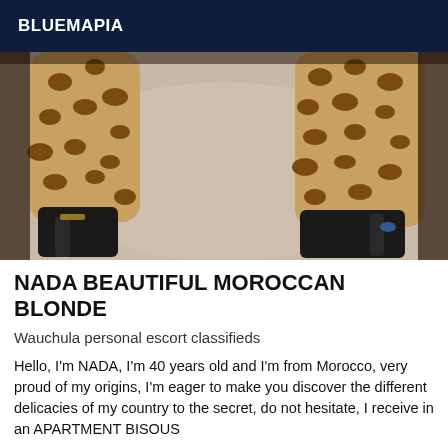BLUEMAPIA
[Figure (photo): Close-up photo of leopard print high heels on a light surface, viewed from above]
NADA BEAUTIFUL MOROCCAN BLONDE
Wauchula personal escort classifieds
Hello, I'm NADA, I'm 40 years old and I'm from Morocco, very proud of my origins, I'm eager to make you discover the different delicacies of my country to the secret, do not hesitate, I receive in an APARTMENT BISOUS